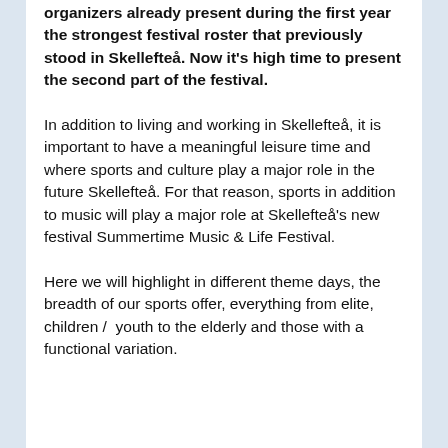organizers already present during the first year the strongest festival roster that previously stood in Skellefteå. Now it's high time to present the second part of the festival.
In addition to living and working in Skellefteå, it is important to have a meaningful leisure time and where sports and culture play a major role in the future Skellefteå. For that reason, sports in addition to music will play a major role at Skellefteå's new festival Summertime Music & Life Festival.
Here we will highlight in different theme days, the breadth of our sports offer, everything from elite, children /  youth to the elderly and those with a functional variation.